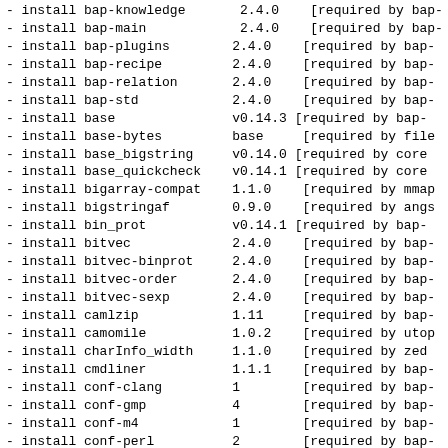- install bap-knowledge        2.4.0    [required by bap-
- install bap-main             2.4.0    [required by bap-
- install bap-plugins          2.4.0    [required by bap-
- install bap-recipe           2.4.0    [required by bap-
- install bap-relation         2.4.0    [required by bap-
- install bap-std              2.4.0    [required by bap-
- install base                 v0.14.3  [required by bap-
- install base-bytes           base     [required by file
- install base_bigstring        v0.14.0  [required by core
- install base_quickcheck      v0.14.1  [required by core
- install bigarray-compat      1.1.0    [required by mmap
- install bigstringaf          0.9.0    [required by angs
- install bin_prot             v0.14.1  [required by bap-
- install bitvec               2.4.0    [required by bap-
- install bitvec-binprot       2.4.0    [required by bap-
- install bitvec-order         2.4.0    [required by bap-
- install bitvec-sexp          2.4.0    [required by bap-
- install camlzip              1.11     [required by bap-
- install camomile             1.0.2    [required by utop
- install charInfo_width        1.1.0    [required by zed
- install cmdliner             1.1.1    [required by bap-
- install conf-clang           1        [required by bap-
- install conf-gmp             4        [required by bap-
- install conf-m4              1        [required by bap-
- install conf-perl            2        [required by bap-
- install conf-pkg-config      2        [required by conf
- install conf-which           1        [required by bap-
- install conf-zlib            1        [required by caml
- install core_kernel          v0.14.2  [required by bap-
- install cppo                 1.6.9    [required by utop